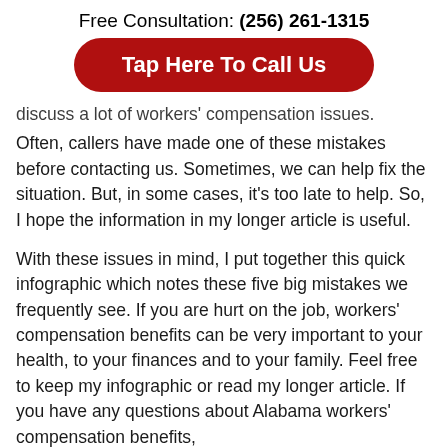Free Consultation: (256) 261-1315
Tap Here To Call Us
discuss a lot of workers' compensation issues. Often, callers have made one of these mistakes before contacting us. Sometimes, we can help fix the situation. But, in some cases, it's too late to help. So, I hope the information in my longer article is useful.
With these issues in mind, I put together this quick infographic which notes these five big mistakes we frequently see. If you are hurt on the job, workers' compensation benefits can be very important to your health, to your finances and to your family. Feel free to keep my infographic or read my longer article. If you have any questions about Alabama workers' compensation benefits,